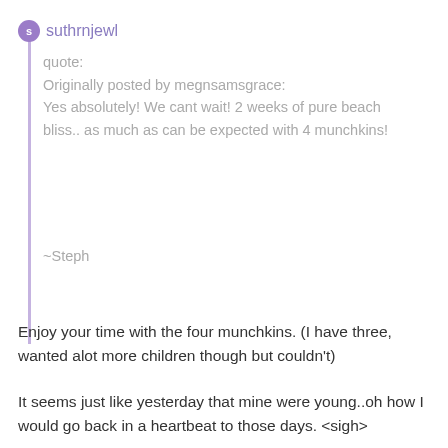suthrnjewl
quote:
Originally posted by megnsamsgrace:
Yes absolutely! We cant wait! 2 weeks of pure beach bliss.. as much as can be expected with 4 munchkins!
~Steph
Enjoy your time with the four munchkins. (I have three, wanted alot more children though but couldn't)
It seems just like yesterday that mine were young..oh how I would go back in a heartbeat to those days. <sigh>